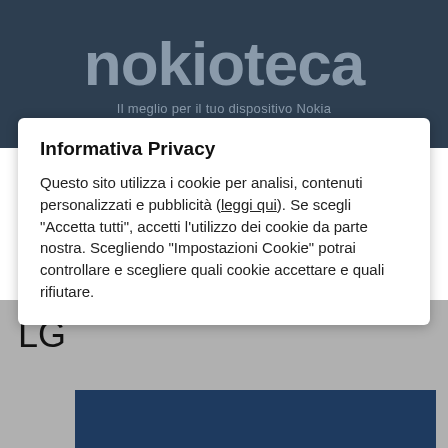nokioteca
Il meglio per il tuo dispositivo Nokia
Informativa Privacy
Questo sito utilizza i cookie per analisi, contenuti personalizzati e pubblicità (leggi qui). Se scegli "Accetta tutti", accetti l'utilizzo dei cookie da parte nostra. Scegliendo "Impostazioni Cookie" potrai controllare e scegliere quali cookie accettare e quali rifiutare.
LG
[Figure (other): Dark blue rectangular image/banner at the bottom of the page]